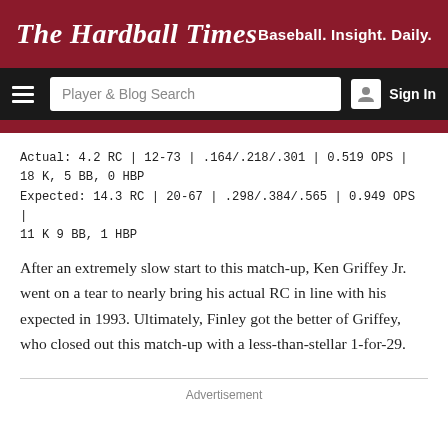The Hardball Times — Baseball. Insight. Daily.
Actual: 4.2 RC | 12-73 | .164/.218/.301 | 0.519 OPS | 18 K, 5 BB, 0 HBP
Expected: 14.3 RC | 20-67 | .298/.384/.565 | 0.949 OPS | 11 K 9 BB, 1 HBP
After an extremely slow start to this match-up, Ken Griffey Jr. went on a tear to nearly bring his actual RC in line with his expected in 1993. Ultimately, Finley got the better of Griffey, who closed out this match-up with a less-than-stellar 1-for-29.
Advertisement